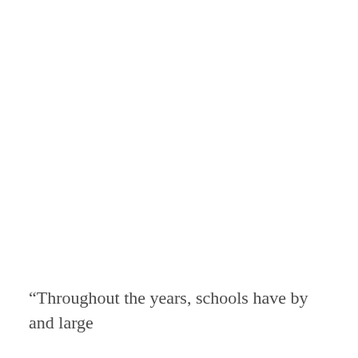“Throughout the years, schools have by and large